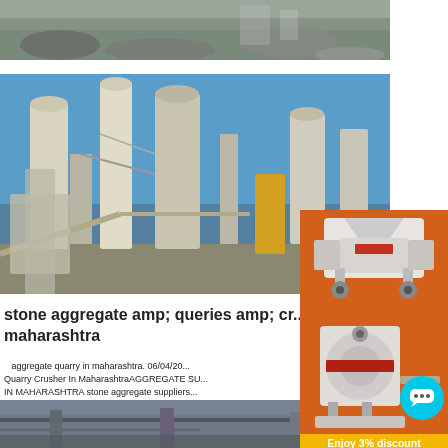[Figure (photo): Aerial/ground view of a quarry site with rocks and machinery]
[Figure (photo): Industrial aggregate plant or stone crushing facility with tall silos and conveyor structures against blue sky]
stone aggregate amp; queries amp; crushers maharashtra
aggregate quarry in maharashtra. 06/04/20... Quarry Crusher In MaharashtraAGGREGATE SU... IN MAHARASHTRA stone aggregate suppliers... maharashtra Stone Crusher in Pune Maharashtra... the leading manufacturer and supplier of Lime Sto... Aggregate Stone Crusher which is
[Figure (photo): Interior view of a stone crushing or processing facility]
[Figure (photo): Advertisement: crusher machinery images with discount offer]
Enjoy 3% discount
Click to Chat
Enquiry